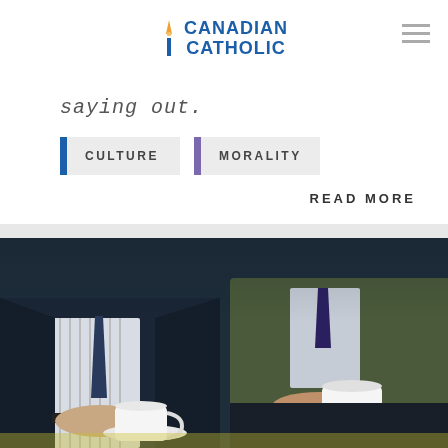CANADIAN CATHOLIC
saying out
CULTURE
MORALITY
READ MORE
[Figure (photo): Two men sitting closely together, each holding white coffee cups on saucers. The man on the left wears a dark jacket and a polka-dot tie over a striped shirt. The man on the right wears a tweed jacket. The image is dark and moody in tone.]